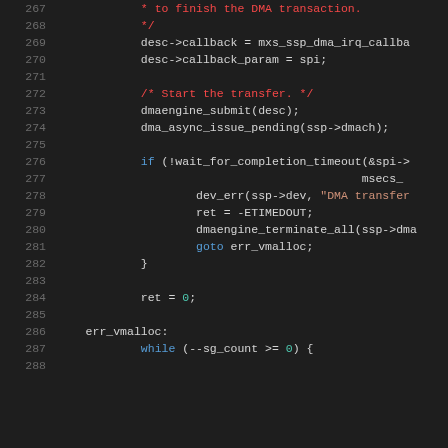Source code lines 267-288 showing C kernel driver code with DMA transfer logic